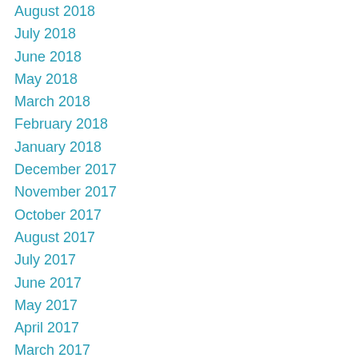August 2018
July 2018
June 2018
May 2018
March 2018
February 2018
January 2018
December 2017
November 2017
October 2017
August 2017
July 2017
June 2017
May 2017
April 2017
March 2017
February 2017
January 2017
December 2016
November 2016
October 2016
September 2016